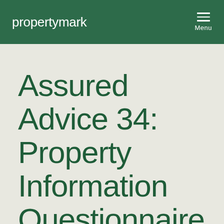propertymark   Menu
Assured Advice 34: Property Information Questionnaire
PUBLISHED: 17 APR 2019
LAST REVIEWED: 17 APR 2020